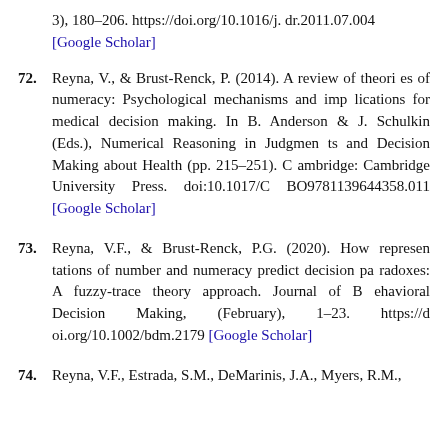3), 180–206. https://doi.org/10.1016/j. dr.2011.07.004 [Google Scholar]
72. Reyna, V., & Brust-Renck, P. (2014). A review of theories of numeracy: Psychological mechanisms and implications for medical decision making. In B. Anderson & J. Schulkin (Eds.), Numerical Reasoning in Judgments and Decision Making about Health (pp. 215–251). Cambridge: Cambridge University Press. doi:10.1017/CBO9781139644358.011 [Google Scholar]
73. Reyna, V.F., & Brust-Renck, P.G. (2020). How representations of number and numeracy predict decision paradoxes: A fuzzy-trace theory approach. Journal of Behavioral Decision Making, (February), 1–23. https://doi.org/10.1002/bdm.2179 [Google Scholar]
74. Reyna, V.F., Estrada, S.M., DeMarinis, J.A., Myers, R.M.,